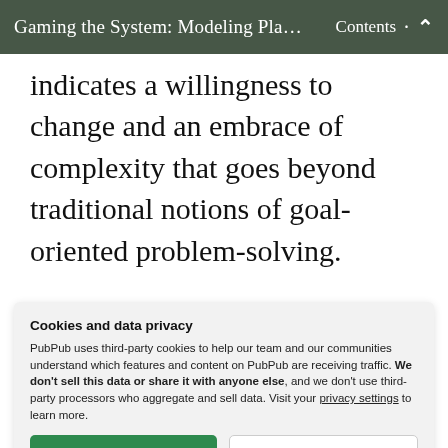Gaming the System: Modeling Pla…   Contents  ⌃
indicates a willingness to change and an embrace of complexity that goes beyond traditional notions of goal-oriented problem-solving.
To tease this distinction out, consider a parallel dialogue adopted by craftsman David Pye. In The Nature and Art of
Cookies and data privacy
PubPub uses third-party cookies to help our team and our communities understand which features and content on PubPub are receiving traffic. We don't sell this data or share it with anyone else, and we don't use third-party processors who aggregate and sell data. Visit your privacy settings to learn more.
bottom partial text continuation